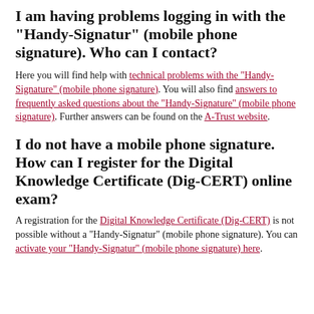I am having problems logging in with the "Handy-Signatur" (mobile phone signature). Who can I contact?
Here you will find help with technical problems with the "Handy-Signature" (mobile phone signature). You will also find answers to frequently asked questions about the "Handy-Signature" (mobile phone signature). Further answers can be found on the A-Trust website.
I do not have a mobile phone signature. How can I register for the Digital Knowledge Certificate (Dig-CERT) online exam?
A registration for the Digital Knowledge Certificate (Dig-CERT) is not possible without a "Handy-Signatur" (mobile phone signature). You can activate your "Handy-Signatur" (mobile phone signature) here.